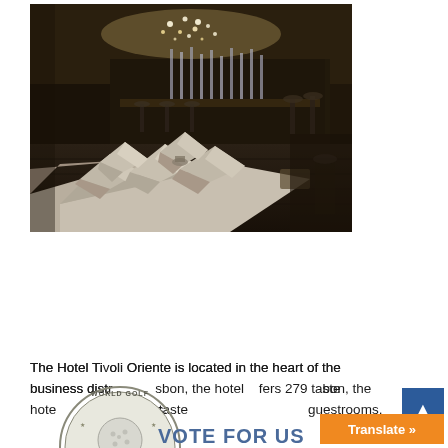[Figure (photo): Interior photo of a hotel bar or lounge with geometric grey upholstered ottomans/seating shaped like pyramids or faceted forms in the foreground, with a glittering chandelier above and a bar with stools and shelving visible in the background.]
The Hotel Tivoli Oriente is located in the heart of the business district [of Lis]bon, the hotel [of]fers 279 taste[fully appointed] guestrooms.